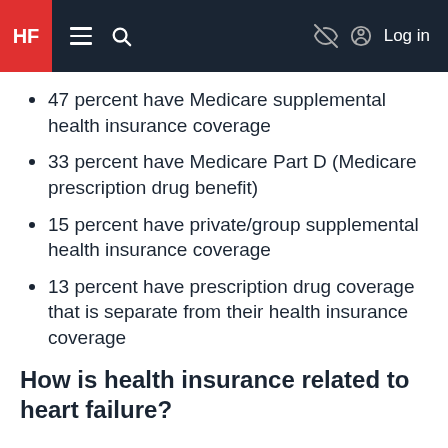HF [navigation bar with hamburger menu, search, eye-slash icon, account icon, Log in]
47 percent have Medicare supplemental health insurance coverage
33 percent have Medicare Part D (Medicare prescription drug benefit)
15 percent have private/group supplemental health insurance coverage
13 percent have prescription drug coverage that is separate from their health insurance coverage
How is health insurance related to heart failure?